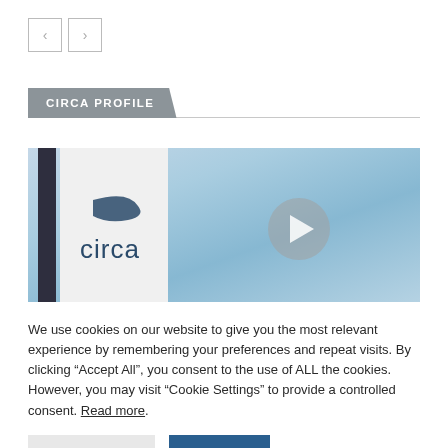[Figure (screenshot): Navigation arrows (left and right) UI buttons]
CIRCA PROFILE
[Figure (photo): Circa branded banner/flag against a blue sky background with a video play button overlay]
We use cookies on our website to give you the most relevant experience by remembering your preferences and repeat visits. By clicking “Accept All”, you consent to the use of ALL the cookies. However, you may visit “Cookie Settings” to provide a controlled consent. Read more.
[Figure (screenshot): Cookie Settings button (grey) and Accept All button (blue)]